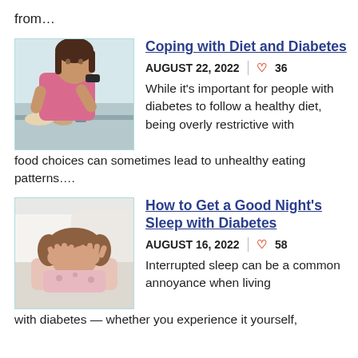from…
[Figure (photo): Woman testing blood sugar with a glucometer, seated at a table with food items]
Coping with Diet and Diabetes
AUGUST 22, 2022 | ♡ 36
While it's important for people with diabetes to follow a healthy diet, being overly restrictive with food choices can sometimes lead to unhealthy eating patterns….
[Figure (photo): Woman lying in bed covering her eyes with hands, surrounded by white pillows]
How to Get a Good Night's Sleep with Diabetes
AUGUST 16, 2022 | ♡ 58
Interrupted sleep can be a common annoyance when living with diabetes — whether you experience it yourself,